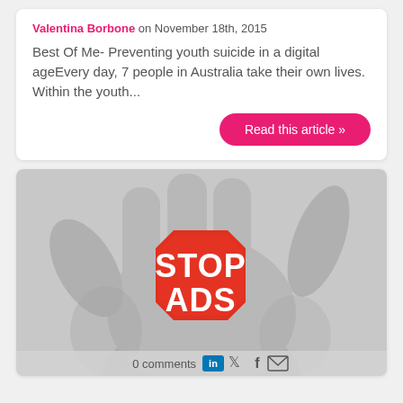Valentina Borbone on November 18th, 2015
Best Of Me- Preventing youth suicide in a digital ageEvery day, 7 people in Australia take their own lives. Within the youth...
Read this article »
[Figure (photo): A black and white photo of an open hand with a red octagonal stop-sign-shaped badge painted on the palm reading STOP ADS in white text.]
0 comments